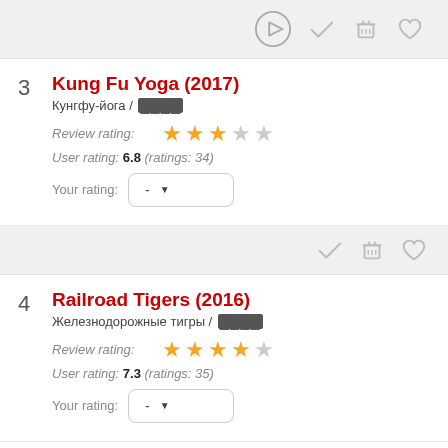[Figure (screenshot): Top toolbar with play button, checkmark, popcorn bucket, and heart icons]
3 Kung Fu Yoga (2017)
Кунгфу-йога / ████
Review rating: ★★★☆☆
User rating: 6.8 (ratings: 34)
Your rating: -
[Figure (screenshot): Action bar with checkmark, popcorn bucket, and heart icons]
4 Railroad Tigers (2016)
Железнодорожные тигры / ████
Review rating: ★★★★☆
User rating: 7.3 (ratings: 35)
Your rating: -